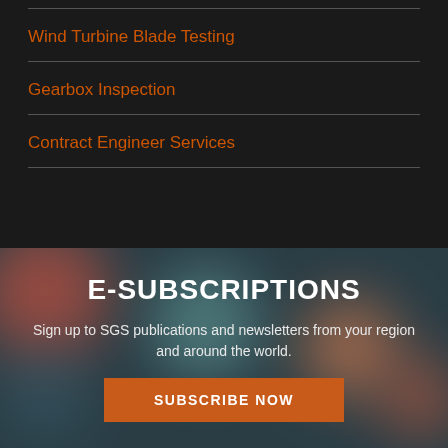Wind Turbine Blade Testing
Gearbox Inspection
Contract Engineer Services
E-SUBSCRIPTIONS
Sign up to SGS publications and newsletters from your region and around the world.
SUBSCRIBE NOW